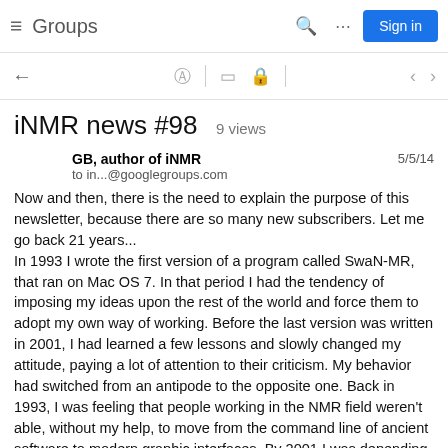Groups  Sign in
iNMR news #98   9 views
GB, author of iNMR
to in...@googlegroups.com
5/5/14
Now and then, there is the need to explain the purpose of this newsletter, because there are so many new subscribers. Let me go back 21 years...
In 1993 I wrote the first version of a program called SwaN-MR, that ran on Mac OS 7. In that period I had the tendency of imposing my ideas upon the rest of the world and force them to adopt my own way of working. Before the last version was written in 2001, I had learned a few lessons and slowly changed my attitude, paying a lot of attention to their criticism. My behavior had switched from an antipode to the opposite one. Back in 1993, I was feeling that people working in the NMR field weren't able, without my help, to move from the command line of ancient software to modern graphic interfaces. By 2001 I was depending on their (your) ideas, because my inventiveness was diminished.